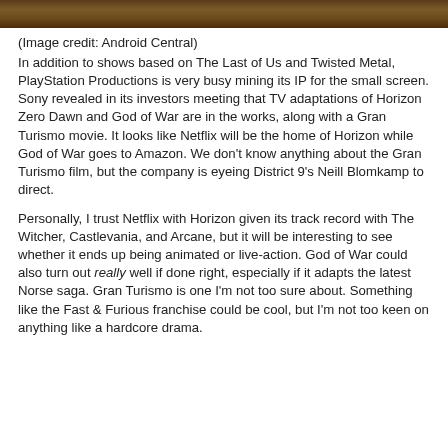[Figure (photo): Top strip of a photo, partially visible, showing dark warm tones suggesting an indoor or game-related scene.]
(Image credit: Android Central)
In addition to shows based on The Last of Us and Twisted Metal, PlayStation Productions is very busy mining its IP for the small screen. Sony revealed in its investors meeting that TV adaptations of Horizon Zero Dawn and God of War are in the works, along with a Gran Turismo movie. It looks like Netflix will be the home of Horizon while God of War goes to Amazon. We don't know anything about the Gran Turismo film, but the company is eyeing District 9's Neill Blomkamp to direct.
Personally, I trust Netflix with Horizon given its track record with The Witcher, Castlevania, and Arcane, but it will be interesting to see whether it ends up being animated or live-action. God of War could also turn out really well if done right, especially if it adapts the latest Norse saga. Gran Turismo is one I'm not too sure about. Something like the Fast & Furious franchise could be cool, but I'm not too keen on anything like a hardcore drama.